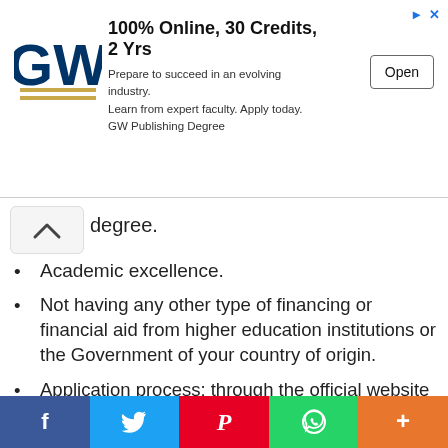[Figure (other): GW University advertisement banner: 100% Online, 30 Credits, 2 Yrs. Prepare to succeed in an evolving industry. Learn from expert faculty. Apply today. GW Publishing Degree. Open button.]
degree.
Academic excellence.
Not having any other type of financing or financial aid from higher education institutions or the Government of your country of origin.
Application process: through the official website of the program or the university to which you wish to apply.
Deadline: depending on the program and the university you wish to apply to, but it is
[Figure (other): Social media share buttons footer: Facebook, Twitter, Pinterest, WhatsApp, More (plus icon)]